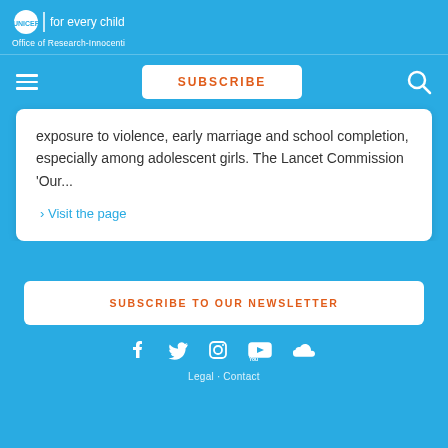unicef | for every child
Office of Research-Innocenti
SUBSCRIBE
exposure to violence, early marriage and school completion, especially among adolescent girls. The Lancet Commission 'Our...
› Visit the page
SUBSCRIBE TO OUR NEWSLETTER
[Figure (other): Social media icons: Facebook, Twitter, Instagram, YouTube, SoundCloud]
Legal · Contact